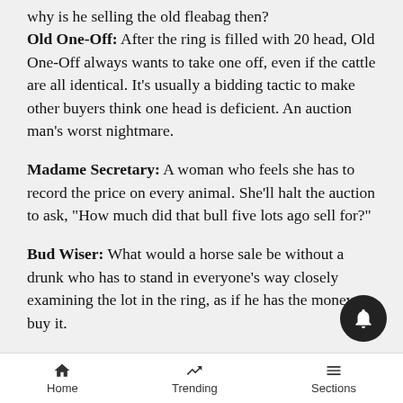why is he selling the old fleabag then?
Old One-Off: After the ring is filled with 20 head, Old One-Off always wants to take one off, even if the cattle are all identical. It’s usually a bidding tactic to make other buyers think one head is deficient. An auction man’s worst nightmare.
Madame Secretary: A woman who feels she has to record the price on every animal. She’ll halt the auction to ask, “How much did that bull five lots ago sell for?”
Bud Wiser: What would a horse sale be without a drunk who has to stand in everyone’s way closely examining the lot in the ring, as if he has the money to buy it.
[partial line cut off]
Home   Trending   Sections